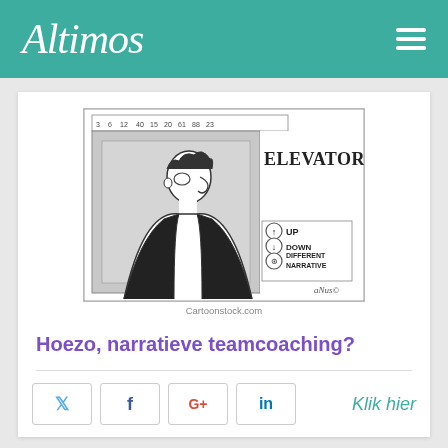Altimos
[Figure (illustration): Cartoon from Cartoonstock.com showing an elevator with buttons labeled UP, DOWN, and DIFFERENT NARRATIVE. A man looks at the panel. Title reads ELEVATORS.]
Cartoonstock.com
Hoezo, narratieve teamcoaching?
Twitter share button
Facebook share button
Google+ share button
LinkedIn share button
Klik hier